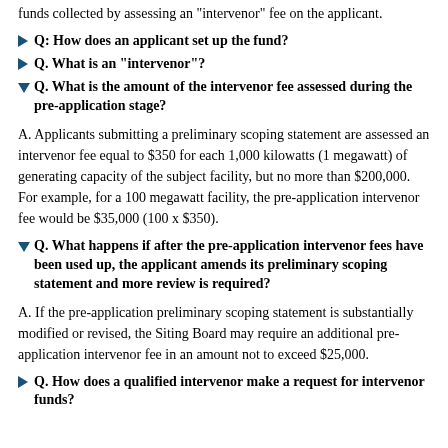funds collected by assessing an "intervenor" fee on the applicant.
Q: How does an applicant set up the fund?
Q. What is an "intervenor"?
Q. What is the amount of the intervenor fee assessed during the pre-application stage?
A. Applicants submitting a preliminary scoping statement are assessed an intervenor fee equal to $350 for each 1,000 kilowatts (1 megawatt) of generating capacity of the subject facility, but no more than $200,000. For example, for a 100 megawatt facility, the pre-application intervenor fee would be $35,000 (100 x $350).
Q. What happens if after the pre-application intervenor fees have been used up, the applicant amends its preliminary scoping statement and more review is required?
A. If the pre-application preliminary scoping statement is substantially modified or revised, the Siting Board may require an additional pre-application intervenor fee in an amount not to exceed $25,000.
Q. How does a qualified intervenor make a request for intervenor funds?